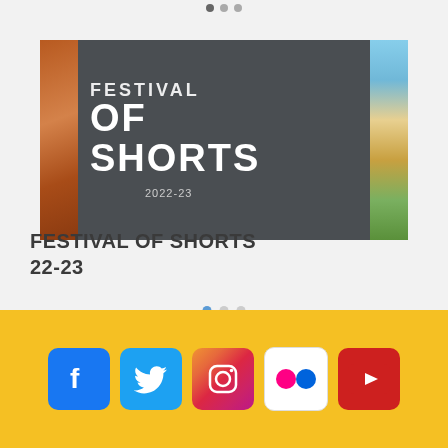[Figure (screenshot): Carousel slide showing Festival of Shorts 2022-23 event card with dark gray background, bold white text reading 'OF SHORTS' and '2022-23', flanked by strips showing autumn tree (left) and building with sky (right)]
FESTIVAL OF SHORTS
22-23
[Figure (infographic): Social media icons row: Facebook, Twitter, Instagram, Flickr, YouTube on yellow background]